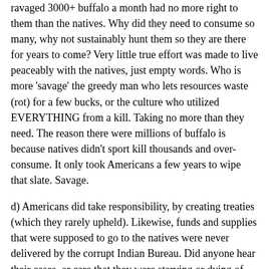ravaged 3000+ buffalo a month had no more right to them than the natives. Why did they need to consume so many, why not sustainably hunt them so they are there for years to come? Very little true effort was made to live peaceably with the natives, just empty words. Who is more 'savage' the greedy man who lets resources waste (rot) for a few bucks, or the culture who utilized EVERYTHING from a kill. Taking no more than they need. The reason there were millions of buffalo is because natives didn't sport kill thousands and over-consume. It only took Americans a few years to wipe that slate. Savage.
d) Americans did take responsibility, by creating treaties (which they rarely upheld). Likewise, funds and supplies that were supposed to go to the natives were never delivered by the corrupt Indian Bureau. Did anyone hear their cases, or care that they were starving or dying of treatable medical diseases (which whites gave them). Nope. Let's revisit the hundred of